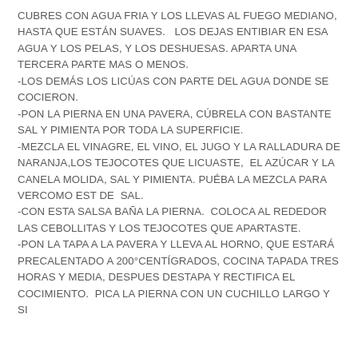CUBRES CON AGUA FRIA Y LOS LLEVAS AL FUEGO MEDIANO, HASTA QUE ESTÁN SUAVES.   LOS DEJAS ENTIBIAR EN ESA AGUA Y LOS PELAS, Y LOS DESHUESAS. APARTA UNA TERCERA PARTE MAS O MENOS.
-LOS DEMÁS LOS LICÚAS CON PARTE DEL AGUA DONDE SE COCIERON.
-PON LA PIERNA EN UNA PAVERA, CÚBRELA CON BASTANTE SAL Y PIMIENTA POR TODA LA SUPERFICIE.
-MEZCLA EL VINAGRE, EL VINO, EL JUGO Y LA RALLADURA DE NARANJA,LOS TEJOCOTES QUE LICUASTE,  EL AZÚCAR Y LA CANELA MOLIDA, SAL Y PIMIENTA. PUÉBA LA MEZCLA PARA VERCOMO EST DE  SAL.
-CON ESTA SALSA BAÑA LA PIERNA.  COLOCA AL REDEDOR LAS CEBOLLITAS Y LOS TEJOCOTES QUE APARTASTE.
-PON LA TAPA A LA PAVERA Y LLEVA AL HORNO, QUE ESTARÁ PRECALENTADO A 200°CENTÍGRADOS, COCINA TAPADA TRES HORAS Y MEDIA, DESPUES DESTAPA Y RECTIFICA EL COCIMIENTO.  PICA LA PIERNA CON UN CUCHILLO LARGO Y SI